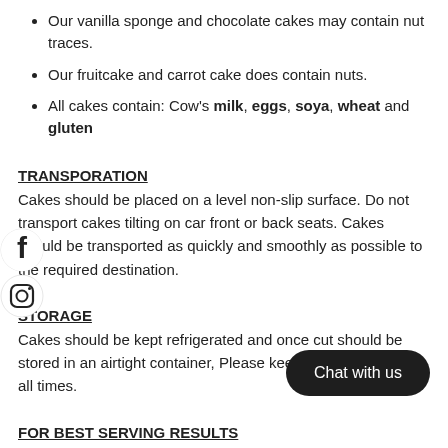Our vanilla sponge and chocolate cakes may contain nut traces.
Our fruitcake and carrot cake does contain nuts.
All cakes contain: Cow's milk, eggs, soya, wheat and gluten
TRANSPORATION
Cakes should be placed on a level non-slip surface. Do not transport cakes tilting on car front or back seats. Cakes should be transported as quickly and smoothly as possible to the required destination.
STORAGE
Cakes should be kept refrigerated and once cut should be stored in an airtight container, Please keep away from heat at all times.
FOR BEST SERVING RESULTS
If you have candles and/or sparklers, arrange these on the cake. Please adhere to safety instructions on sparklers. Please note; an adult should supervise children when using sparklers and when cutting the cake. All edible and non-edible decorations should be removed before cutting and serving the cake.